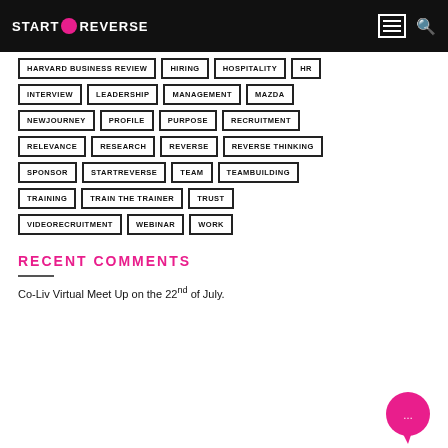START REVERSE
HARVARD BUSINESS REVIEW
HIRING
HOSPITALITY
HR
INTERVIEW
LEADERSHIP
MANAGEMENT
MAZDA
NEWJOURNEY
PROFILE
PURPOSE
RECRUITMENT
RELEVANCE
RESEARCH
REVERSE
REVERSE THINKING
SPONSOR
STARTREVERSE
TEAM
TEAMBUILDING
TRAINING
TRAIN THE TRAINER
TRUST
VIDEORECRUITMENT
WEBINAR
WORK
RECENT COMMENTS
Co-Liv Virtual Meet Up on the 22nd of July.